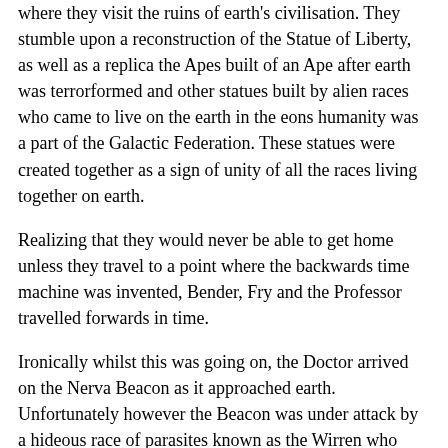where they visit the ruins of earth's civilisation. They stumble upon a reconstruction of the Statue of Liberty, as well as a replica the Apes built of an Ape after earth was terrorformed and other statues built by alien races who came to live on the earth in the eons humanity was a part of the Galactic Federation. These statues were created together as a sign of unity of all the races living together on earth.
Realizing that they would never be able to get home unless they travel to a point where the backwards time machine was invented, Bender, Fry and the Professor travelled forwards in time.
Ironically whilst this was going on, the Doctor arrived on the Nerva Beacon as it approached earth. Unfortunately however the Beacon was under attack by a hideous race of parasites known as the Wirren who wanted to wipe out humanity. The Doctor and his companions, Sarah and Harry however destroyed the Wirren before travelling ahead to earth. There they discovered the Sontaran Styre had kidnapped several humans who he brutally tortured in some cases to death, in order to find out humanity's weaknesses.